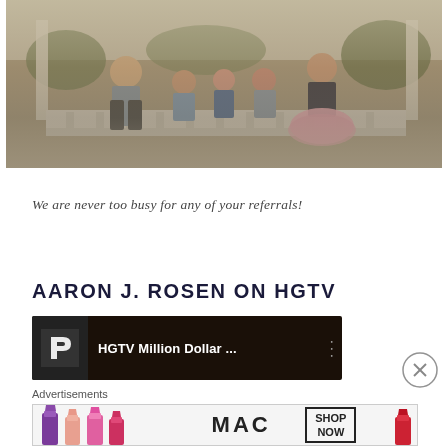[Figure (photo): Family photo showing a man with a beard, a woman in a pink tutu skirt, and three young children sitting on a stone balustrade in an outdoor park setting]
We are never too busy for any of your referrals!
AARON J. ROSEN ON HGTV
[Figure (screenshot): Video thumbnail showing HGTV Million Dollar ... title with a stylized P logo on dark background with video options dots icon]
[Figure (other): Close/X button circle icon]
Advertisements
[Figure (photo): MAC cosmetics advertisement showing lipsticks in purple, pink, and red colors with MAC logo and SHOP NOW button]